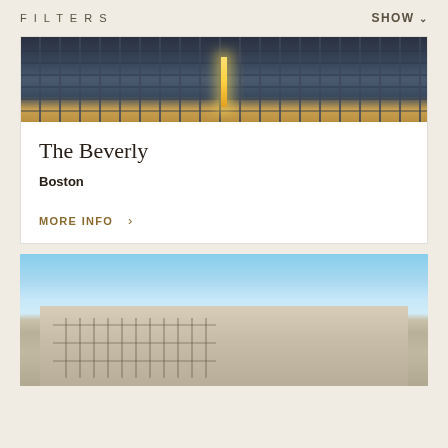FILTERS    SHOW
[Figure (photo): Nighttime photograph of The Beverly building in Boston, showing urban architecture with street lamp illumination]
The Beverly
Boston
MORE INFO >
[Figure (photo): Daytime photograph of a beige/limestone residential building exterior against a blue sky with clouds]